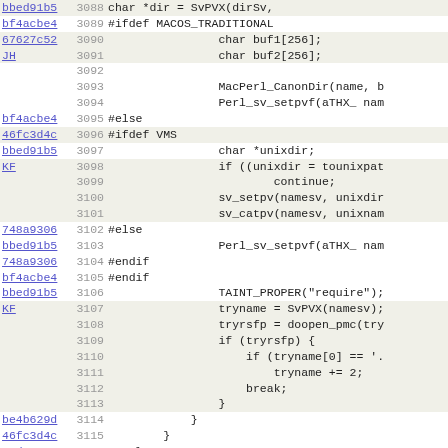| hash | line | code |
| --- | --- | --- |
| bbed91b5 | 3088 | char *dir = SvPVX(dirSv, |
| bf4acbe4 | 3089 | #ifdef MACOS_TRADITIONAL |
| 67627c52 | 3090 |                 char buf1[256]; |
| JH | 3091 |                 char buf2[256]; |
|  | 3092 |  |
|  | 3093 |                 MacPerl_CanonDir(name, b |
|  | 3094 |                 Perl_sv_setpvf(aTHX_ nam |
| bf4acbe4 | 3095 | #else |
| 46fc3d4c | 3096 | #ifdef VMS |
| bbed91b5 | 3097 |                 char *unixdir; |
| KF | 3098 |                 if ((unixdir = tounixpat |
|  | 3099 |                         continue; |
|  | 3100 |                 sv_setpv(namesv, unixdir |
|  | 3101 |                 sv_catpv(namesv, unixnam |
| 748a9306 | 3102 | #else |
| bbed91b5 | 3103 |                 Perl_sv_setpvf(aTHX_ nam |
| 748a9306 | 3104 | #endif |
| bf4acbe4 | 3105 | #endif |
| bbed91b5 | 3106 |                 TAINT_PROPER("require"); |
| KF | 3107 |                 tryname = SvPVX(namesv); |
|  | 3108 |                 tryrsfp = doopen_pmc(try |
|  | 3109 |                 if (tryrsfp) { |
|  | 3110 |                     if (tryname[0] == '. |
|  | 3111 |                         tryname += 2; |
|  | 3112 |                     break; |
|  | 3113 |                 } |
| be4b629d | 3114 |             } |
| 46fc3d4c | 3115 |         } |
| a0d0e21e | 3116 |     } |
| LW | 3117 |     } |
|  | 3118 |     } |
| f4dd75d9 | 3119 |     SAVECOPFILE_FREE(&PL_compiling); |
| 57043c58 | 3120 | ... |